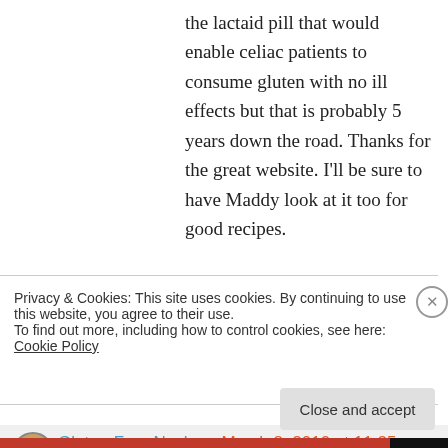the lactaid pill that would enable celiac patients to consume gluten with no ill effects but that is probably 5 years down the road. Thanks for the great website. I'll be sure to have Maddy look at it too for good recipes.
★ Like
Log in to Reply
Gluten-Free Nosh on March 8, 2010 at 11:25
Privacy & Cookies: This site uses cookies. By continuing to use this website, you agree to their use.
To find out more, including how to control cookies, see here: Cookie Policy
Close and accept